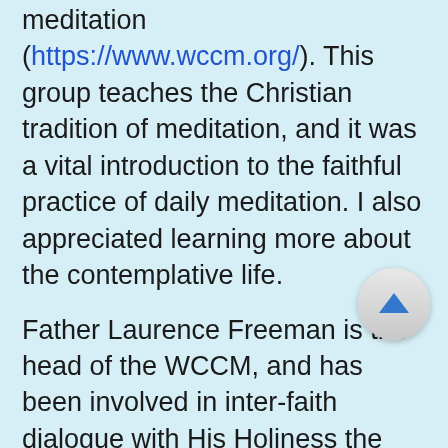meditation (https://www.wccm.org/). This group teaches the Christian tradition of meditation, and it was a vital introduction to the faithful practice of daily meditation. I also appreciated learning more about the contemplative life.
Father Laurence Freeman is the head of the WCCM, and has been involved in inter-faith dialogue with His Holiness the Dalai Lama. A good book in this context, I have found, is The Good Heart: A Buddhist Perspective on the Teachings of Jesus by His Holiness the Dalai Lama.
Also, a pivotal book for me (written by